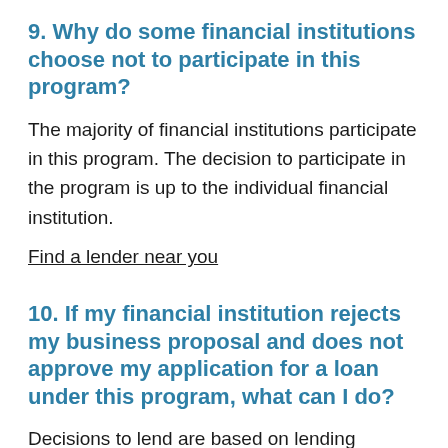9. Why do some financial institutions choose not to participate in this program?
The majority of financial institutions participate in this program. The decision to participate in the program is up to the individual financial institution.
Find a lender near you
10. If my financial institution rejects my business proposal and does not approve my application for a loan under this program, what can I do?
Decisions to lend are based on lending